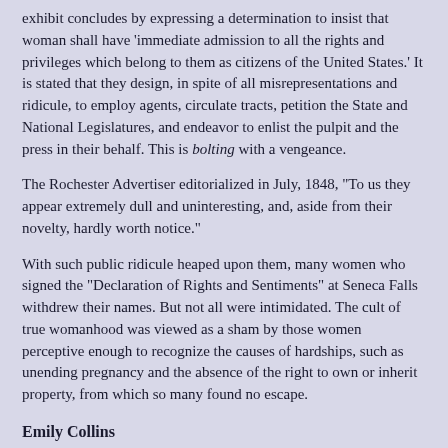exhibit concludes by expressing a determination to insist that woman shall have 'immediate admission to all the rights and privileges which belong to them as citizens of the United States.' It is stated that they design, in spite of all misrepresentations and ridicule, to employ agents, circulate tracts, petition the State and National Legislatures, and endeavor to enlist the pulpit and the press in their behalf. This is bolting with a vengeance.
The Rochester Advertiser editorialized in July, 1848, "To us they appear extremely dull and uninteresting, and, aside from their novelty, hardly worth notice."
With such public ridicule heaped upon them, many women who signed the "Declaration of Rights and Sentiments" at Seneca Falls withdrew their names. But not all were intimidated. The cult of true womanhood was viewed as a sham by those women perceptive enough to recognize the causes of hardships, such as unending pregnancy and the absence of the right to own or inherit property, from which so many found no escape.
Emily Collins
Emily Collins was one of those women. Many years later she told the following story for Elizabeth Stanton's and Susan Anthony's first volume of the History of Woman Suffrage: